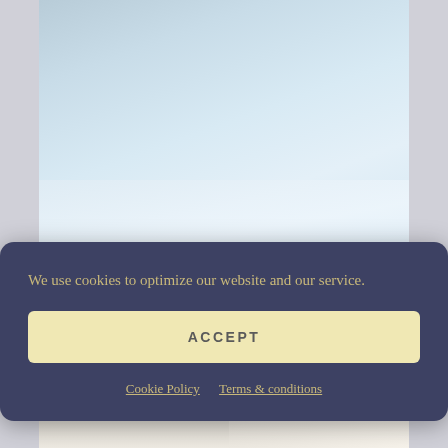[Figure (photo): A person with dark curly hair sleeping in bed with white bedding, background shows light blue/white blurred ceiling area above and the sleeping person below.]
We use cookies to optimize our website and our service.
ACCEPT
Cookie Policy   Terms & conditions